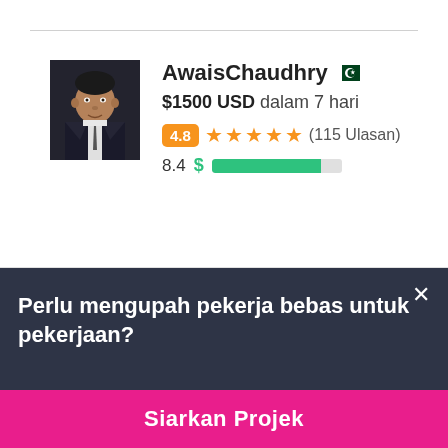[Figure (photo): Profile photo of AwaisChaudhry, a man in a suit against a dark background]
AwaisChaudhry 🇵🇰
$1500 USD dalam 7 hari
4.8 ★★★★★ (115 Ulasan)
8.4 $ [progress bar]
Perlu mengupah pekerja bebas untuk pekerjaan?
Siarkan Projek